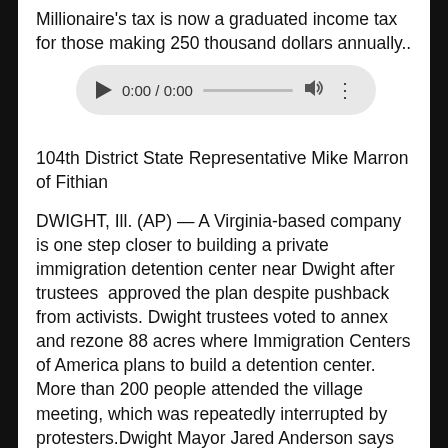Millionaire's tax is now a graduated income tax for those making 250 thousand dollars annually..
[Figure (other): Audio player widget showing 0:00 / 0:00 with play button, progress bar, volume and more options icons]
104th District State Representative Mike Marron of Fithian
DWIGHT, Ill. (AP) — A Virginia-based company is one step closer to building a private immigration detention center near Dwight after trustees  approved the plan despite pushback from activists. Dwight trustees voted to annex and rezone 88 acres where Immigration Centers of America plans to build a detention center. More than 200 people attended the village meeting, which was repeatedly interrupted by protesters.Dwight Mayor Jared Anderson says the project could stimulate the region's economy by creating about 300 jobs. The community